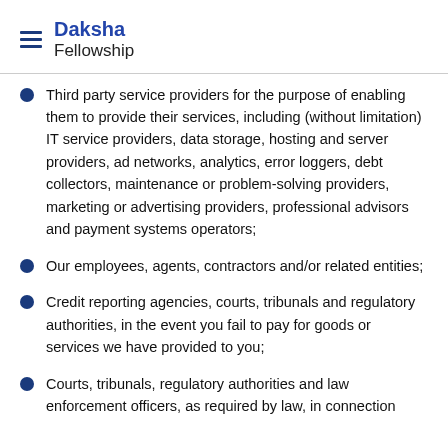Daksha Fellowship
Third party service providers for the purpose of enabling them to provide their services, including (without limitation) IT service providers, data storage, hosting and server providers, ad networks, analytics, error loggers, debt collectors, maintenance or problem-solving providers, marketing or advertising providers, professional advisors and payment systems operators;
Our employees, agents, contractors and/or related entities;
Credit reporting agencies, courts, tribunals and regulatory authorities, in the event you fail to pay for goods or services we have provided to you;
Courts, tribunals, regulatory authorities and law enforcement officers, as required by law, in connection